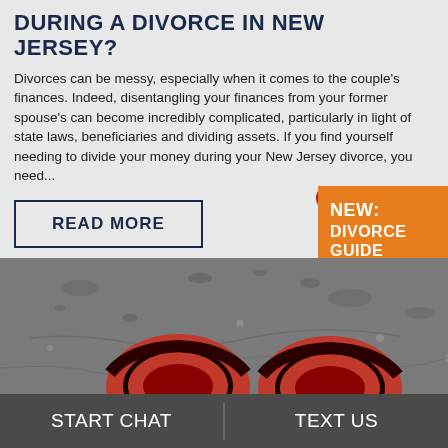DURING A DIVORCE IN NEW JERSEY?
Divorces can be messy, especially when it comes to the couple's finances. Indeed, disentangling your finances from your former spouse's can become incredibly complicated, particularly in light of state laws, beneficiaries and dividing assets. If you find yourself needing to divide your money during your New Jersey divorce, you need...
READ MORE
NEW: DIVORCE GUIDE
[Figure (photo): Two red wedding rings lying on a wet grey stone surface with water droplets, photographed in black and white with the rings in color.]
START CHAT
TEXT US